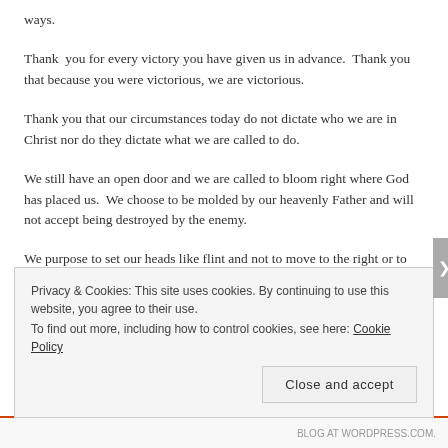ways.
Thank  you for every victory you have given us in advance.  Thank you that because you were victorious, we are victorious.
Thank you that our circumstances today do not dictate who we are in Christ nor do they dictate what we are called to do.
We still have an open door and we are called to bloom right where God has placed us.  We choose to be molded by our heavenly Father and will not accept being destroyed by the enemy.
We purpose to set our heads like flint and not to move to the right or to the left.  Thank you that every test in our lives turns out to be a
Privacy & Cookies: This site uses cookies. By continuing to use this website, you agree to their use.
To find out more, including how to control cookies, see here: Cookie Policy
Close and accept